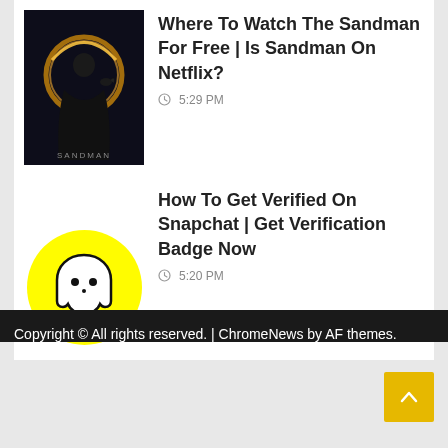[Figure (photo): Sandman movie/show poster thumbnail showing dark figure with glowing ring and raven]
Where To Watch The Sandman For Free | Is Sandman On Netflix?
5:29 PM
[Figure (logo): Snapchat yellow circle logo with ghost icon]
How To Get Verified On Snapchat | Get Verification Badge Now
5:20 PM
Copyright © All rights reserved. | ChromeNews by AF themes.